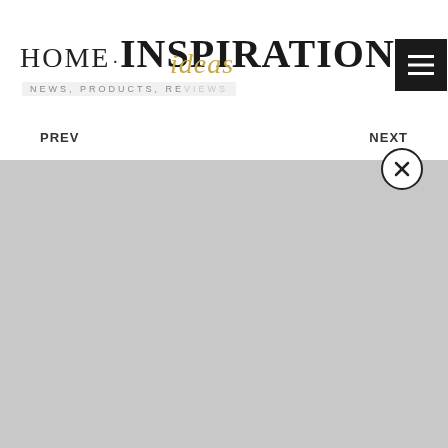HOME·INSPIRATION ideas — NEWS, PRODUCTS, RE...
PREV
NEXT
[Figure (screenshot): Large grey placeholder image area occupying the lower portion of the page]
[Figure (other): Close/X button circle overlay on the upper right of the grey area]